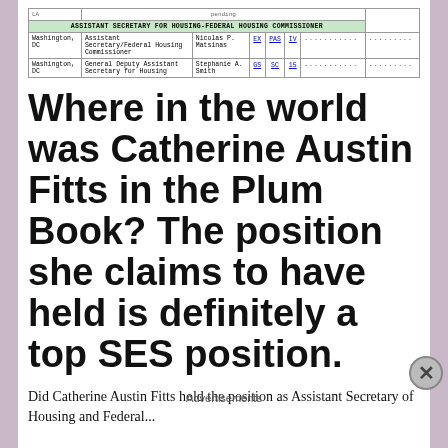| LA | pending |  |  |  |  |  |
| --- | --- | --- | --- | --- | --- | --- |
| ASSISTANT SECRETARY FOR HOUSING-FEDERAL HOUSING COMMISSIONER |
| Washington, DC | Assistant Secretary/Federal Housing Commissioner | Nicolas P. Matsinas | EX | PAS | IV | ........... | .......... |
| Washington, DC | General Deputy Assistant Secretary for Housing | Stephanie A. Smith | GS | SC | 15 | ........... | .......... |
Where in the world was Catherine Austin Fitts in the Plum Book? The position she claims to have held is definitely a top SES position.
Did Catherine Austin Fitts hold the position as Assistant Secretary of Housing and Federal...
Advertisements